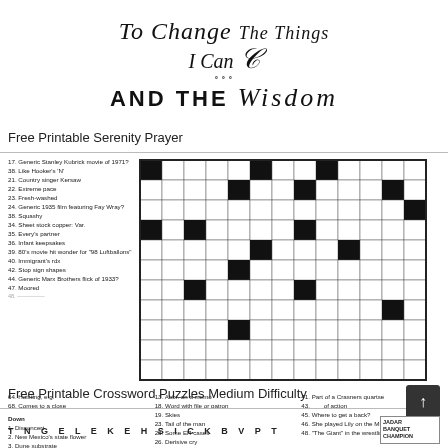[Figure (illustration): Decorative typography art showing partial Serenity Prayer text: 'To Change The Things I Can AND THE Wisdom' in mixed script and bold lettering]
Free Printable Serenity Prayer
[Figure (other): Crossword puzzle grid with black and white squares, numbered cells]
17. Generic Stanley Kubrick movie of 1971?
38. Like Hooker's 'N'
21. Country singer Kersaw
22. Extreme pace
23. Fresh-washed
24. Generic 1935 film featuring Fay Wray?
38. Squashy
34. Sheet stock copper: Var.
35. Every's partner
36. Infant keepsakes
39. 80's movie hit wonder for "98 Luftballons"
40. Immigrant's rdx
42. Stop sign shapes
44. Generic Marx Brothers flick of 1933?
47. Moored
64. Hoisting, e.g.
68. Comes to a close
Down
1. Disconcert
2. New Mexico's state flower
3. Dune substrate
13. Abbr. on a memo
18. Word with file or patron
19. Skies
23. Tail of the man
28. Some ER cases
26. Derisive cry
41. Part of a Crasners quartse
43. ___ of action
45. Where to get a back?
46. She played Lily on the Munsters
48. "The Giant" in the wrestling ring
Free Printable Crossword Puzzles Medium Difficulty
[Figure (other): Word search puzzle preview showing letter grid: T N G E L E K E H S I C K B V P T with word list box showing JAGAR, BANQUET, CHAMPION]